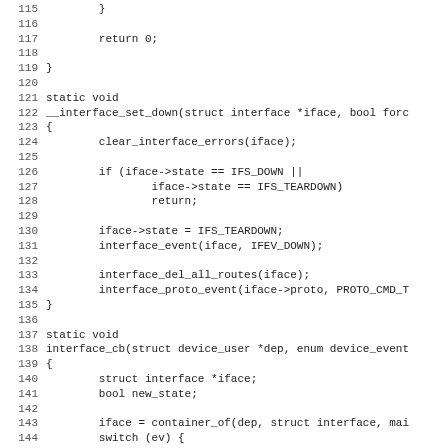[Figure (screenshot): Source code listing in monospace font showing C code lines 115–147, including functions __interface_set_down and interface_cb with control flow logic.]